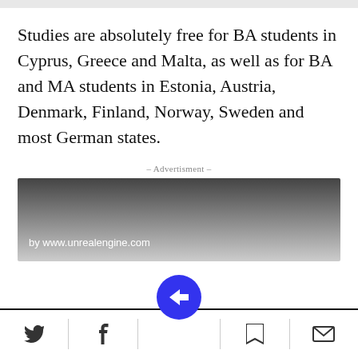Studies are absolutely free for BA students in Cyprus, Greece and Malta, as well as for BA and MA students in Estonia, Austria, Denmark, Finland, Norway, Sweden and most German states.
- Advertisment -
[Figure (other): Advertisement banner with gradient background (dark to light gray) and text 'by www.unrealengine.com' in white at bottom left]